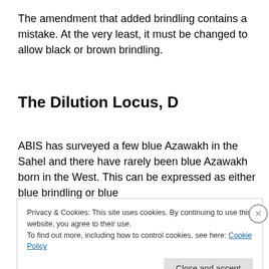The amendment that added brindling contains a mistake. At the very least, it must be changed to allow black or brown brindling.
The Dilution Locus, D
ABIS has surveyed a few blue Azawakh in the Sahel and there have rarely been blue Azawakh born in the West. This can be expressed as either blue brindling or blue
Privacy & Cookies: This site uses cookies. By continuing to use this website, you agree to their use.
To find out more, including how to control cookies, see here: Cookie Policy